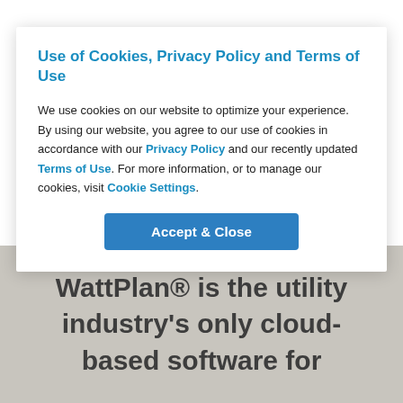[Figure (screenshot): Background faded page content showing partially visible text about energy choices, solar batteries, electric vehicles, utility programs]
Use of Cookies, Privacy Policy and Terms of Use
We use cookies on our website to optimize your experience. By using our website, you agree to our use of cookies in accordance with our Privacy Policy and our recently updated Terms of Use. For more information, or to manage our cookies, visit Cookie Settings.
Accept & Close
WattPlan® is the utility industry's only cloud-based software for